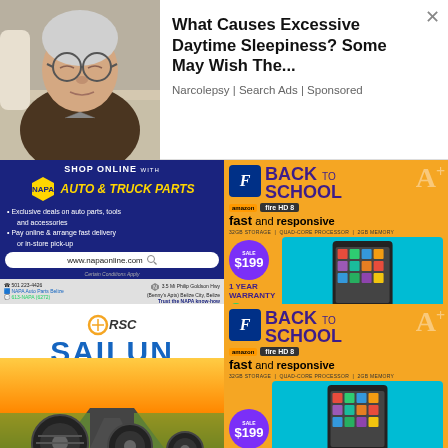[Figure (advertisement): Top ad: sleeping elderly man photo with headline 'What Causes Excessive Daytime Sleepiness? Some May Wish The...' — Narcolepsy | Search Ads | Sponsored]
[Figure (advertisement): NAPA Auto & Truck Parts ad: Shop Online with NAPA AUTO & TRUCK PARTS. Exclusive deals on auto parts, tools and accessories. Pay online & arrange fast delivery or in-store pick-up. www.napaonline.com. 501 223-4426. NAPA Auto Parts Belize. 613-NAPA (6272). 3.5 Mi Philip Goldson Hwy (Benny's Apts) Belize City, Belize. Trust the NAPA know-how.]
[Figure (advertisement): Fultec Back to School Amazon Fire HD 8 ad: fast and responsive, 32GB Storage, Quad-Core Processor, 2GB Memory, SALE $199, 1 YEAR WARRANTY, WhatsApp 610-1260, Belize City 223-3226, Belmopan 822-0482, sales@fultec.com.bz]
[Figure (advertisement): RSC Sailun tire ad: WITH YOU THROUGH EVERY TURN — tire imagery with sunset/road background]
[Figure (advertisement): Fultec Back to School Amazon Fire HD 8 ad (repeated): fast and responsive, 32GB Storage, Quad-Core Processor, 2GB Memory, SALE $199, 1 YEAR WARRANTY]